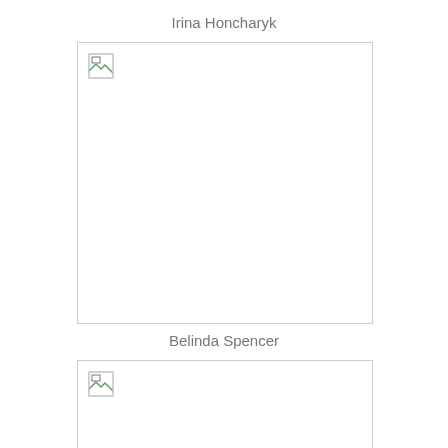Irina Honcharyk
[Figure (photo): Placeholder photo for Irina Honcharyk — broken image icon visible in top-left corner, rest of area is white]
Belinda Spencer
[Figure (photo): Placeholder photo for Belinda Spencer — broken image icon visible in top-left corner, rest of area is white]